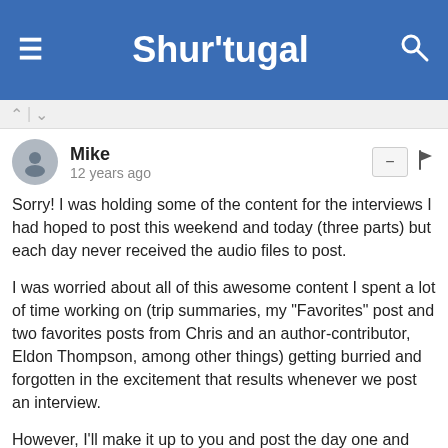Shur'tugal
Mike
12 years ago
Sorry! I was holding some of the content for the interviews I had hoped to post this weekend and today (three parts) but each day never received the audio files to post.

I was worried about all of this awesome content I spent a lot of time working on (trip summaries, my "Favorites" post and two favorites posts from Chris and an author-contributor, Eldon Thompson, among other things) getting burried and forgotten in the excitement that results whenever we post an interview.

However, I'll make it up to you and post the day one and day two summaries today (Tuesday). I just hope they don't get forgotten if I have the interviews tomorrow because day one and two were by far the coolest of the convention!